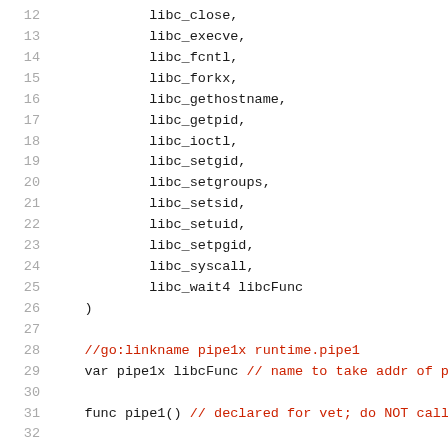Code listing lines 12-32 showing Go source code with libc function list and pipe declarations